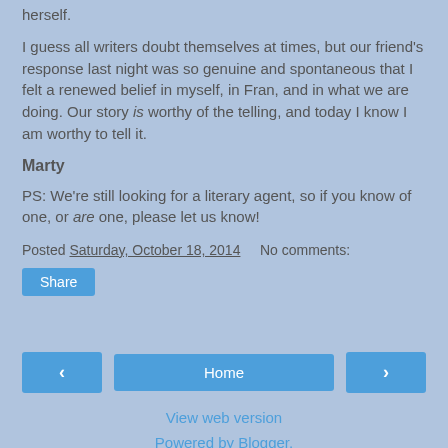herself.
I guess all writers doubt themselves at times, but our friend's response last night was so genuine and spontaneous that I felt a renewed belief in myself, in Fran, and in what we are doing. Our story is worthy of the telling, and today I know I am worthy to tell it.
Marty
PS: We're still looking for a literary agent, so if you know of one, or are one, please let us know!
Posted Saturday, October 18, 2014    No comments:
Share
< Home >
View web version
Powered by Blogger.